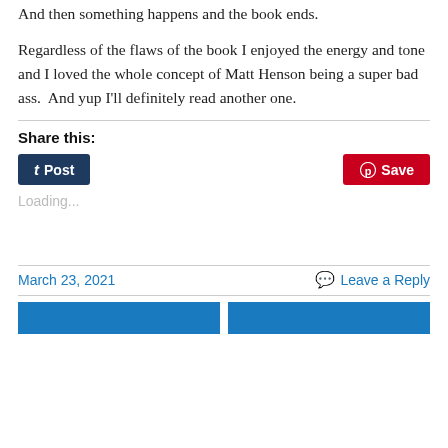And then something happens and the book ends.
Regardless of the flaws of the book I enjoyed the energy and tone and I loved the whole concept of Matt Henson being a super bad ass.  And yup I'll definitely read another one.
Share this:
[Figure (other): Tumblr Post button (dark blue) and Pinterest Save button (red)]
Loading...
March 23, 2021    Leave a Reply
[Figure (other): Two blue navigation buttons at bottom]